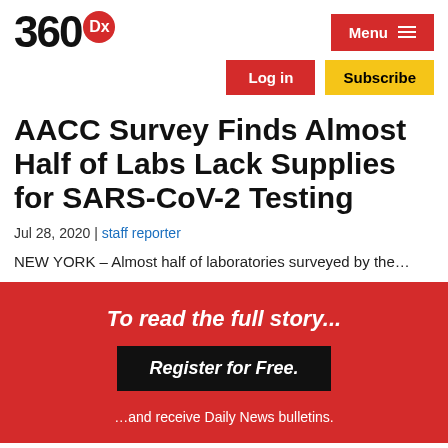360Dx — Menu
Log in | Subscribe
AACC Survey Finds Almost Half of Labs Lack Supplies for SARS-CoV-2 Testing
Jul 28, 2020 | staff reporter
NEW YORK – Almost half of laboratories surveyed by the...
To read the full story... Register for Free. ...and receive Daily News bulletins.